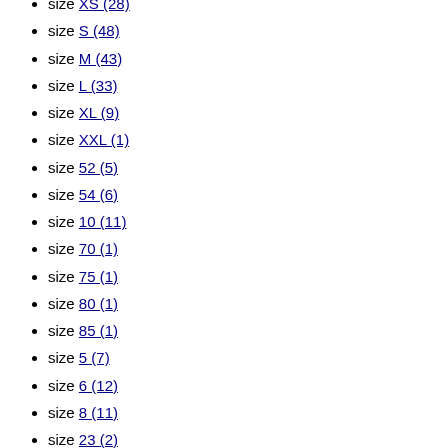size XS (28)
size S (48)
size M (43)
size L (33)
size XL (9)
size XXL (1)
size 52 (5)
size 54 (6)
size 10 (11)
size 70 (1)
size 75 (1)
size 80 (1)
size 85 (1)
size 5 (7)
size 6 (12)
size 8 (11)
size 23 (2)
size 58 (1)
size 60 (4)
size 62 (4)
size 23   24 (1)
size 25   26 (1)
size 27   28 (1)
size 29   30 (1)
size 31   32 (1)